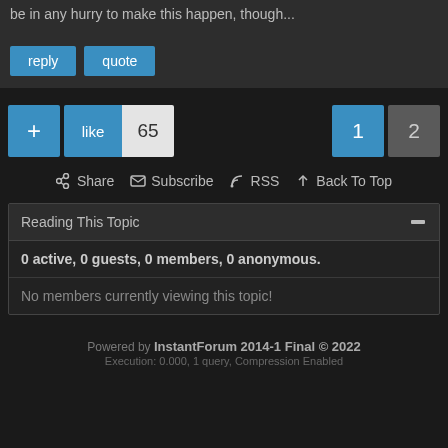be in any hurry to make this happen, though...
reply  quote
+ like 65  1 2
Share  Subscribe  RSS  Back To Top
Reading This Topic
0 active, 0 guests, 0 members, 0 anonymous.
No members currently viewing this topic!
Powered by InstantForum 2014-1 Final © 2022 Execution: 0.000, 1 query, Compression Enabled